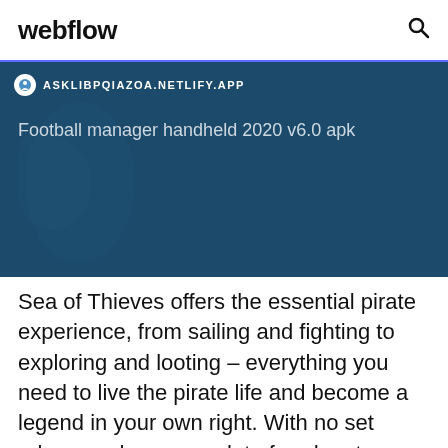webflow
[Figure (screenshot): Screenshot of a Webflow site showing URL bar with ASKLIBPQIAZOA.NETLIFY.APP and a dark blue background with map imagery and text 'Football manager handheld 2020 v6.0 apk']
Sea of Thieves offers the essential pirate experience, from sailing and fighting to exploring and looting – everything you need to live the pirate life and become a legend in your own right. With no set roles, you have complete freedom to approach the world, and other players, however you choose. Whether you're